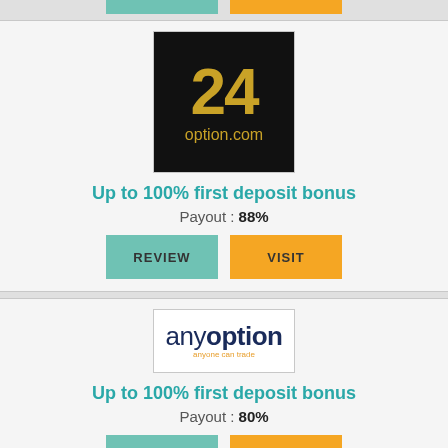[Figure (logo): 24option.com logo — black background with gold '24' and 'option.com' text]
Up to 100% first deposit bonus
Payout : 88%
REVIEW
VISIT
[Figure (logo): anyoption logo — 'any' in dark blue regular, 'option' in dark blue bold, tagline 'anyone can trade' in orange]
Up to 100% first deposit bonus
Payout : 80%
REVIEW
VISIT
[Figure (logo): BDSwiss logo — 'BD' in red bold, 'SWISS' in black bold, red arrow chevron]